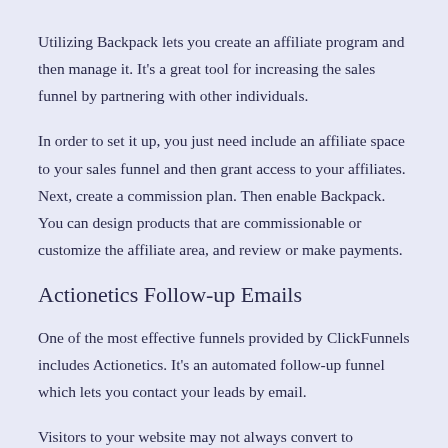Utilizing Backpack lets you create an affiliate program and then manage it. It's a great tool for increasing the sales funnel by partnering with other individuals.
In order to set it up, you just need include an affiliate space to your sales funnel and then grant access to your affiliates. Next, create a commission plan. Then enable Backpack. You can design products that are commissionable or customize the affiliate area, and review or make payments.
Actionetics Follow-up Emails
One of the most effective funnels provided by ClickFunnels includes Actionetics. It's an automated follow-up funnel which lets you contact your leads by email.
Visitors to your website may not always convert to customers. To be able to make your products more attractive, it is necessary to